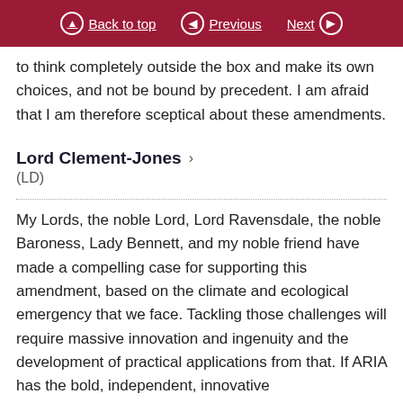Back to top | Previous | Next
to think completely outside the box and make its own choices, and not be bound by precedent. I am afraid that I am therefore sceptical about these amendments.
Lord Clement-Jones
(LD)
My Lords, the noble Lord, Lord Ravensdale, the noble Baroness, Lady Bennett, and my noble friend have made a compelling case for supporting this amendment, based on the climate and ecological emergency that we face. Tackling those challenges will require massive innovation and ingenuity and the development of practical applications from that. If ARIA has the bold, independent, innovative